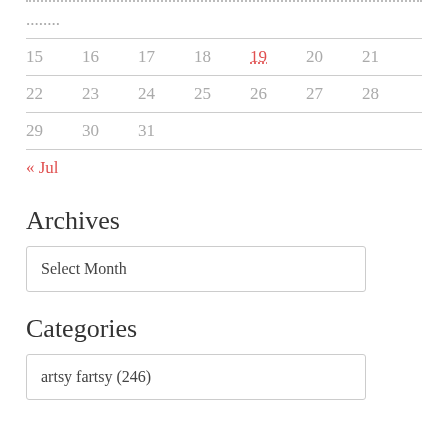| 15 | 16 | 17 | 18 | 19 | 20 | 21 |
| 22 | 23 | 24 | 25 | 26 | 27 | 28 |
| 29 | 30 | 31 |  |  |  |  |
« Jul
Archives
Select Month
Categories
artsy fartsy  (246)